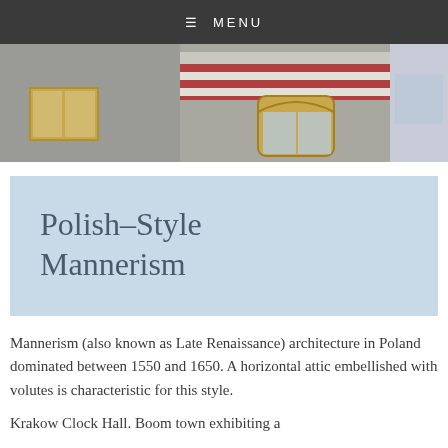≡ MENU
[Figure (photo): Photograph of a building facade with windows, brick detailing in red and white stripes, and stone/concrete exterior]
Polish–Style Mannerism
Mannerism (also known as Late Renaissance) architecture in Poland dominated between 1550 and 1650. A horizontal attic embellished with volutes is characteristic for this style.
Krakow Clock Hall. Boom town exhibiting a